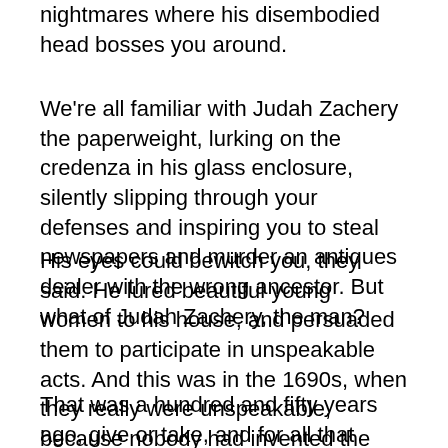nightmares where his disembodied head bosses you around.
We're all familiar with Judah Zachery the paperweight, lurking on the credenza in his glass enclosure, silently slipping through your defenses and inspiring you to steal newspapers and murder an antiques dealer with the wrong ancestor. But what of Judah Zachery, the man?
His eyes could bewitch you, they said. He lured beautiful young women to his house, and persuaded them to participate in unspeakable acts. And this was in the 1690s, when they really were unspeakable, because nobody had invented the slang words to describe them yet.
That was a hundred and fifty years ago, give or take, and for all that time, he's been operating at a serious disadvantage. They say size doesn't matter, but try to